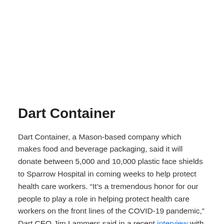Dart Container
Dart Container, a Mason-based company which makes food and beverage packaging, said it will donate between 5,000 and 10,000 plastic face shields to Sparrow Hospital in coming weeks to help protect health care workers. “It’s a tremendous honor for our people to play a role in helping protect health care workers on the front lines of the COVID-19 pandemic,” Dart CEO Jim Lammers said in a recent interview with Lansing State Journal.